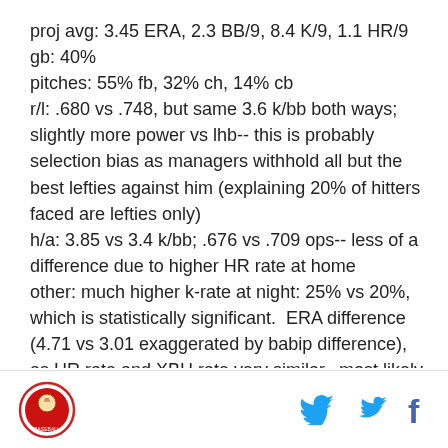proj avg: 3.45 ERA, 2.3 BB/9, 8.4 K/9, 1.1 HR/9
gb: 40%
pitches: 55% fb, 32% ch, 14% cb
r/l: .680 vs .748, but same 3.6 k/bb both ways; slightly more power vs lhb-- this is probably selection bias as managers withhold all but the best lefties against him (explaining 20% of hitters faced are lefties only)
h/a: 3.85 vs 3.4 k/bb; .676 vs .709 ops-- less of a difference due to higher HR rate at home
other: much higher k-rate at night: 25% vs 20%, which is statistically significant. ERA difference (4.71 vs 3.01 exaggerated by babip difference), as HR rate and XBH rate very similar. most likely he strikes out more at night
Logo | Twitter | Facebook